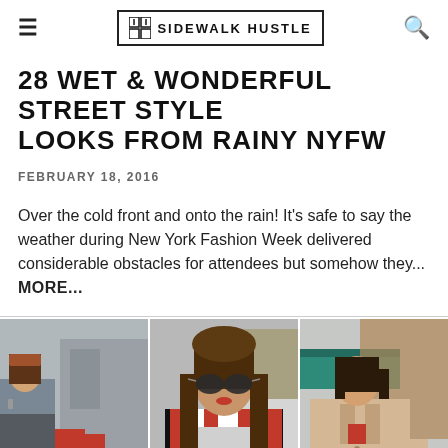SIDEWALK HUSTLE
28 WET & WONDERFUL STREET STYLE LOOKS FROM RAINY NYFW
FEBRUARY 18, 2016
Over the cold front and onto the rain! It's safe to say the weather during New York Fashion Week delivered considerable obstacles for attendees but somehow they…  MORE...
[Figure (photo): Three street style photos from rainy NYFW: woman in grey coat with red truck in background, woman with long brown hair and sunglasses wearing striped red/black/white jacket, and woman in beige coat.]